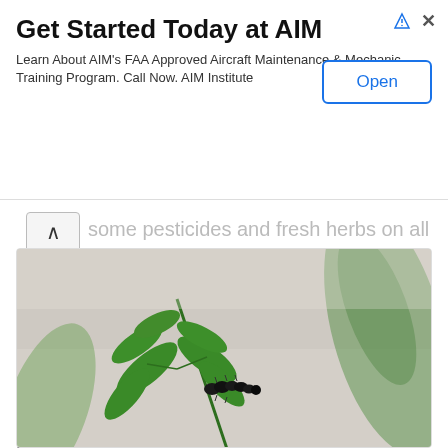[Figure (screenshot): Advertisement banner: 'Get Started Today at AIM' with 'Open' button and ad icons]
...some pesticides and fresh herbs on all their...g exactly one organic carrot (a whole 'nother blog post) so transferred two day-old caterpillars to a carrot leaf, and off to Nick's Garden Center I went in search of new plants. They sell non-GMO 'Titan' parsley, and I found some bronze fennel. I read somewhere that Black Swallowtail caterpillars love it but mine opted for it last, only eating it when they were close to their final molt and ravenous.
[Figure (photo): Close-up photograph of a small black caterpillar on a green leaf (carrot or parsley plant foliage), with blurred green leaves in background]